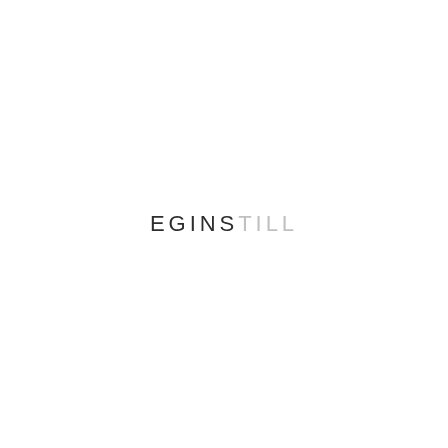[Figure (logo): EGINSTILL logo with dark letters for EGINS and light/faded letters for TILL, displayed in a minimal sans-serif uppercase typeface centered on a white page]